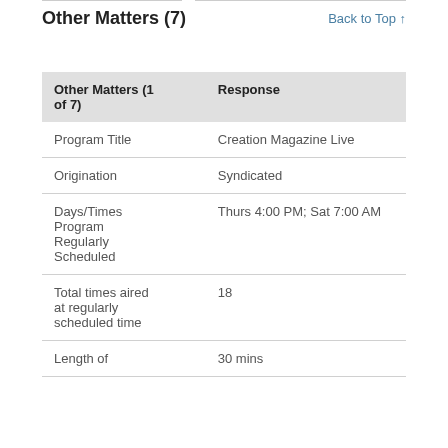Other Matters (7)
Back to Top ↑
| Other Matters (1 of 7) | Response |
| --- | --- |
| Program Title | Creation Magazine Live |
| Origination | Syndicated |
| Days/Times Program Regularly Scheduled | Thurs 4:00 PM; Sat 7:00 AM |
| Total times aired at regularly scheduled time | 18 |
| Length of | 30 mins |